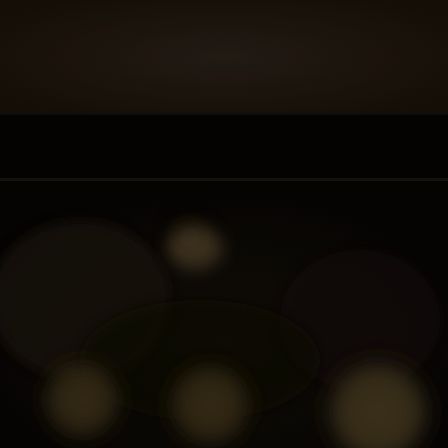[Figure (photo): Dark scene photograph showing a very dark room or venue interior. The top portion shows a dark brown/near-black background. A wide black horizontal band runs across approximately the top third. Below that is a large dark blurred area with a faint glowing light blob in the upper-center area, suggesting a light source in a dark environment (possibly a dimly lit room, theater, or bar interior). At the bottom are three circular bokeh-style blurred discs - two smaller ones on the left side and one larger one on the right side, all in a dark olive/brown tone.]